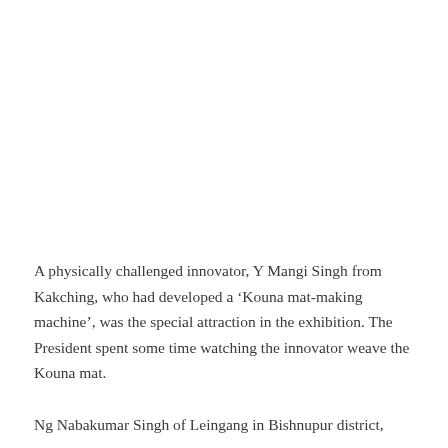A physically challenged innovator, Y Mangi Singh from Kakching, who had developed a ‘Kouna mat-making machine’, was the special attraction in the exhibition. The President spent some time watching the innovator weave the Kouna mat.
Ng Nabakumar Singh of Leingang in Bishnupur district, who had invented a ‘Double barrel abana’ was also